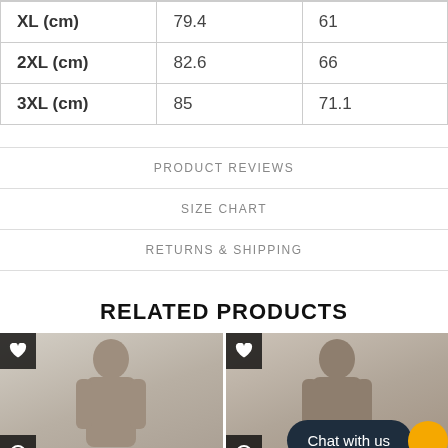| XL (cm) | 79.4 | 61 |
| 2XL (cm) | 82.6 | 66 |
| 3XL (cm) | 85 | 71.1 |
PRODUCT REVIEWS
SIZE CHART
RETURNS & SHIPPING
RELATED PRODUCTS
[Figure (photo): Two product photos showing female models, with heart/wishlist icons and a dark chat widget overlay reading 'Chat with us']